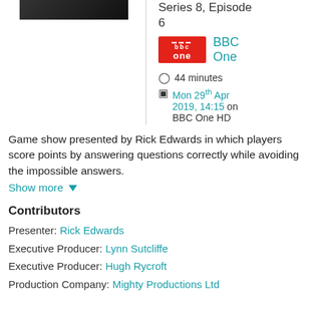[Figure (screenshot): Thumbnail image of a TV show, dark background with people visible]
Series 8, Episode 6
[Figure (logo): BBC One red logo]
BBC One
44 minutes
Mon 29th Apr 2019, 14:15 on BBC One HD
Game show presented by Rick Edwards in which players score points by answering questions correctly while avoiding the impossible answers.
Show more
Contributors
Presenter: Rick Edwards
Executive Producer: Lynn Sutcliffe
Executive Producer: Hugh Rycroft
Production Company: Mighty Productions Ltd